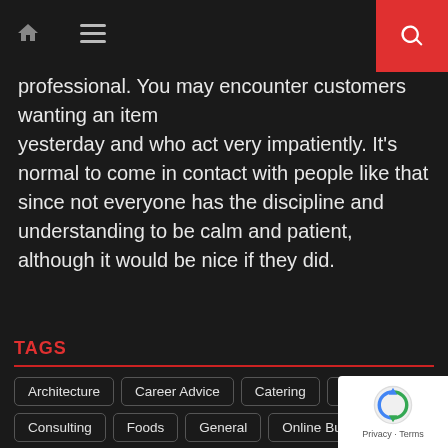Navigation bar with home icon, menu icon, and search button
professional. You may encounter customers wanting an item yesterday and who act very impatiently. It’s normal to come in contact with people like that since not everyone has the discipline and understanding to be calm and patient, although it would be nice if they did.
TAGS
Architecture
Career Advice
Catering
Coaching
Consulting
Foods
General
Online Business
Professional Services
Services
Slider
Storage
Support & Services
Writing